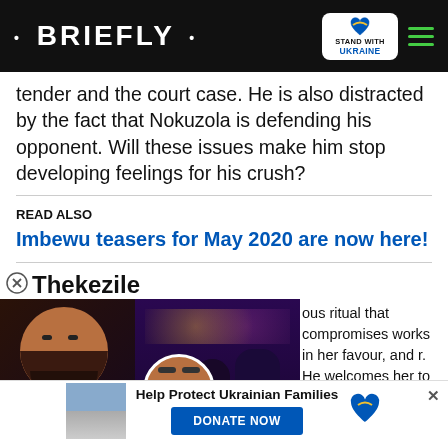• BRIEFLY •
tender and the court case. He is also distracted by the fact that Nokuzola is defending his opponent. Will these issues make him stop developing feelings for his crush?
READ ALSO
Imbewu teasers for May 2020 are now here!
Thekezile
ous ritual that compromises works in her favour, and r. He welcomes her to his ll with MaNdlovu. What will
[Figure (screenshot): Video ad overlay showing Jamie Foxx and a party scene with text LOVE ENDED UNDER PUBLIC PRESSURE]
LOVE ENDED UNDER PUBLIC PRESSURE
Help Protect Ukrainian Families DONATE NOW